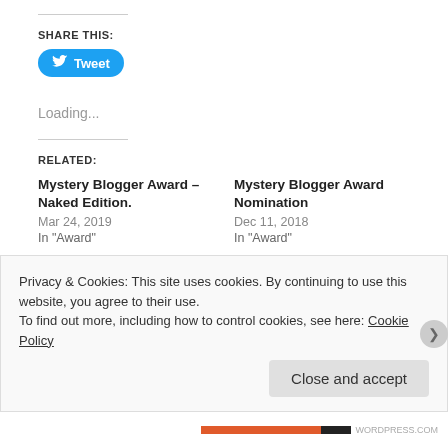SHARE THIS:
[Figure (other): Twitter Tweet button (blue rounded button with bird icon and 'Tweet' text)]
Loading...
RELATED:
Mystery Blogger Award – Naked Edition.
Mar 24, 2019
In "Award"
Mystery Blogger Award Nomination
Dec 11, 2018
In "Award"
Privacy & Cookies: This site uses cookies. By continuing to use this website, you agree to their use.
To find out more, including how to control cookies, see here: Cookie Policy